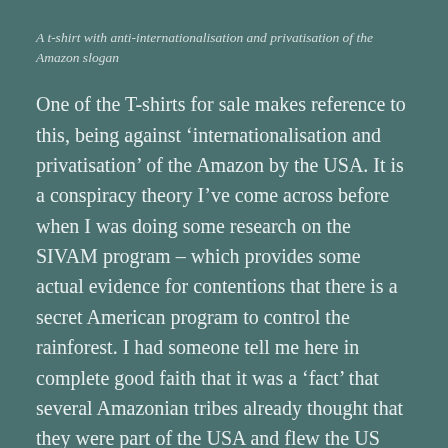A t-shirt with anti-internationalisation and privatisation of the Amazon slogan
One of the T-shirts for sale makes reference to this, being against ‘internationalisation and privatisation’ of the Amazon by the USA. It is a conspiracy theory I’ve come across before when I was doing some research on the SIVAM program – which provides some actual evidence for contentions that there is a secret American program to control the rainforest. I had someone tell me here in complete good faith that it was a ‘fact’ that several Amazonian tribes already thought that they were part of the USA and flew the US flag! This is combined with the fact the UN